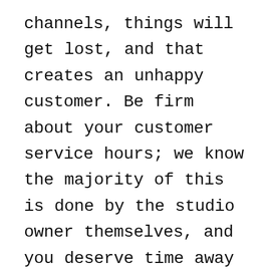channels, things will get lost, and that creates an unhappy customer. Be firm about your customer service hours; we know the majority of this is done by the studio owner themselves, and you deserve time away from answering questions. This will create boundaries for you and for your customer, and that is a good thing! Boundaries set expectations, and when we can stick